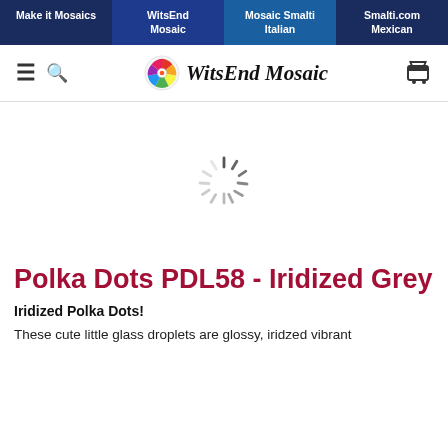Make it Mosaics | WitsEnd Mosaic | Mosaic Smalti Italian | Smalti.com Mexican
[Figure (logo): WitsEnd Mosaic logo with colorful pinwheel icon and italic bold text]
[Figure (other): Loading spinner (animated circle of dashes)]
Polka Dots PDL58 - Iridized Grey
Iridized Polka Dots!
These cute little glass droplets are glossy, iridzed vibrant